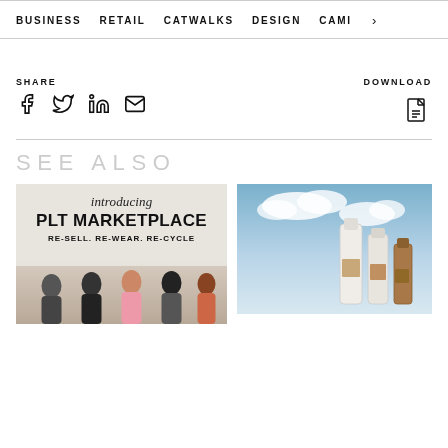BUSINESS   RETAIL   CATWALKS   DESIGN   CAMI  >
SHARE
DOWNLOAD
SEE ALSO
[Figure (photo): PLT Marketplace promotional image with text: introducing PLT MARKETPLACE RE-SELL. RE-WEAR. RE-CYCLE, showing group of models]
[Figure (photo): Beauty product bottles against a sky background]